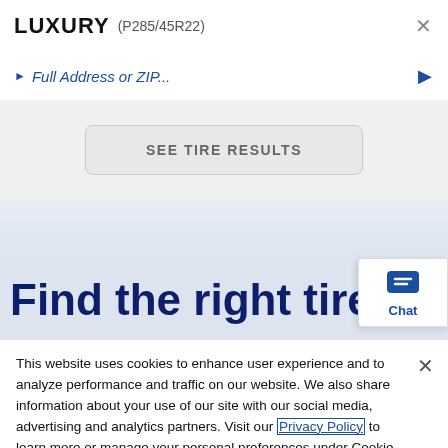LUXURY (P285/45R22)
Full Address or ZIP...
SEE TIRE RESULTS
Find the right tires for
[Figure (screenshot): Chat widget button with speech bubble icon and 'Chat' label]
This website uses cookies to enhance user experience and to analyze performance and traffic on our website. We also share information about your use of our site with our social media, advertising and analytics partners. Visit our Privacy Policy to learn more or manage your personal preferences under Cookie Settings.